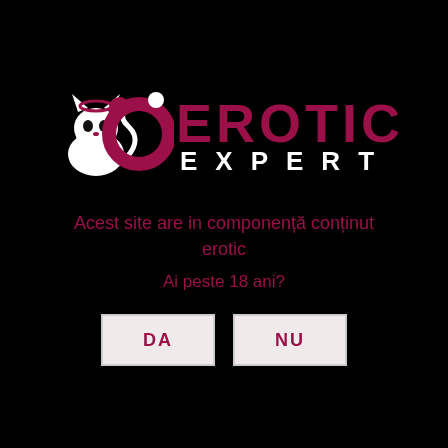[Figure (logo): Erotic Expert logo with stylized cat/devil figure in white and a circular G-shaped icon in crimson/dark pink, with the word EROTIC in bold dark pink/crimson and EXPERT in white spaced letters below]
Acest site are in componenta continut erotic
Ai peste 18 ani?
DA
NU